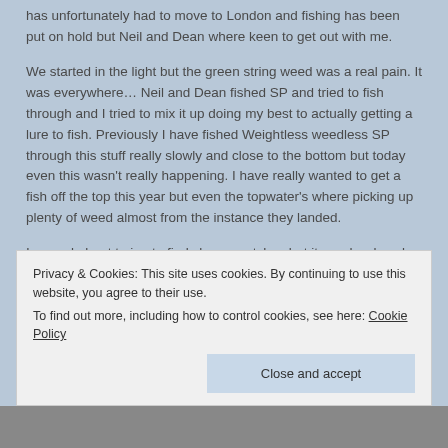has unfortunately had to move to London and fishing has been put on hold but Neil and Dean where keen to get out with me.
We started in the light but the green string weed was a real pain. It was everywhere… Neil and Dean fished SP and tried to fish through and I tried to mix it up doing my best to actually getting a lure to fish. Previously I have fished Weightless weedless SP through this stuff really slowly and close to the bottom but today even this wasn't really happening. I have really wanted to get a fish off the top this year but even the topwater's where picking up plenty of weed almost from the instance they landed.
I moved about trying to find clearer patches but it was hard work. Time ticked on and we approached high tide. The
Privacy & Cookies: This site uses cookies. By continuing to use this website, you agree to their use.
To find out more, including how to control cookies, see here: Cookie Policy